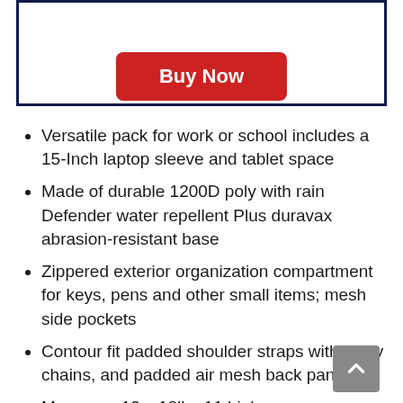[Figure (other): Buy Now button inside a navy bordered box]
Versatile pack for work or school includes a 15-Inch laptop sleeve and tablet space
Made of durable 1200D poly with rain Defender water repellent Plus duravax abrasion-resistant base
Zippered exterior organization compartment for keys, pens and other small items; mesh side pockets
Contour fit padded shoulder straps with daisy chains, and padded air mesh back panel
Measures 12 x 18lbs 11 high...